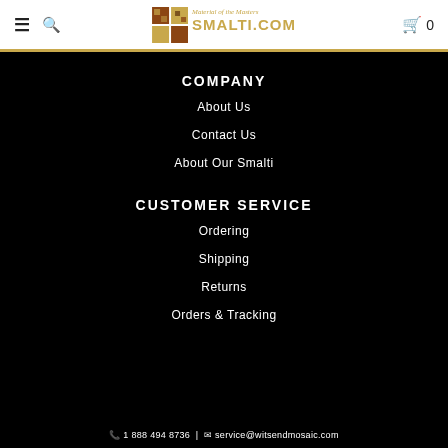SMALTI.COM — Material of the Masters — navigation header with hamburger menu, search icon, logo, cart icon (0)
COMPANY
About Us
Contact Us
About Our Smalti
CUSTOMER SERVICE
Ordering
Shipping
Returns
Orders & Tracking
📞 1 888 494 8736  |  ✉ service@witsendmosaic.com